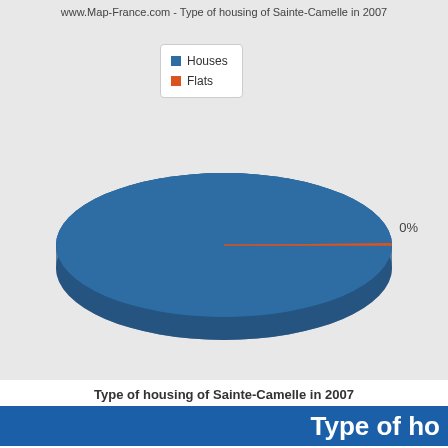www.Map-France.com - Type of housing of Sainte-Camelle in 2007
[Figure (pie-chart): Type of housing of Sainte-Camelle in 2007]
Type of housing of Sainte-Camelle in 2007